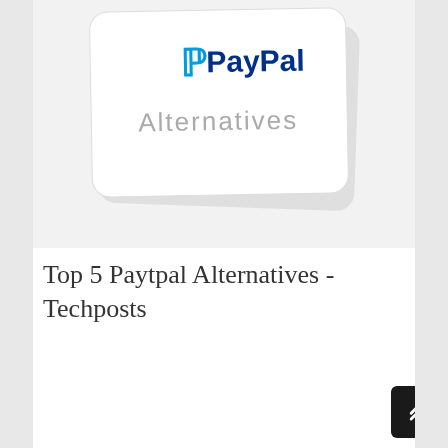[Figure (illustration): A white rounded-rectangle card showing the PayPal logo (blue stylized P and 'PayPal' text) above the word 'Alternatives' in gray sketch-style lettering. The card appears slightly tilted with a subtle shadow, on a light gray background.]
Top 5 Paytpal Alternatives - Techposts